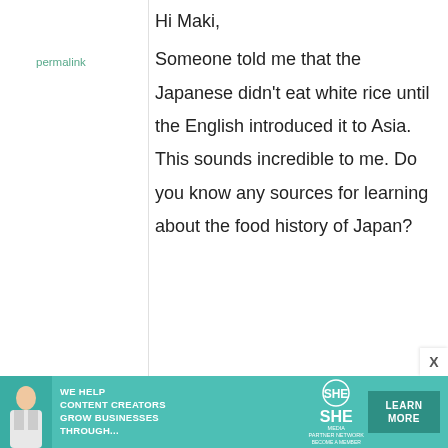permalink
Hi Maki,
Someone told me that the Japanese didn't eat white rice until the English introduced it to Asia. This sounds incredible to me. Do you know any sources for learning about the food history of Japan?
[Figure (infographic): Advertisement banner for SHE Media Partner Network: 'We help content creators grow businesses through...' with a photo of a woman and a Learn More button]